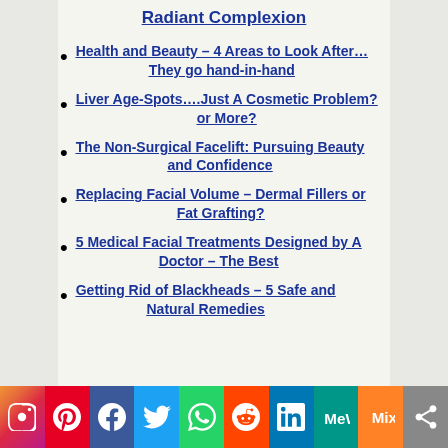Radiant Complexion
Health and Beauty – 4 Areas to Look After… They go hand-in-hand
Liver Age-Spots….Just A Cosmetic Problem? or More?
The Non-Surgical Facelift: Pursuing Beauty and Confidence
Replacing Facial Volume – Dermal Fillers or Fat Grafting?
5 Medical Facial Treatments Designed by A Doctor – The Best
Getting Rid of Blackheads – 5 Safe and Natural Remedies
[Figure (infographic): Social media sharing bar with icons: Instagram, Pinterest, Facebook, Twitter, WhatsApp, Reddit, LinkedIn, MeWe, Mix, Share]